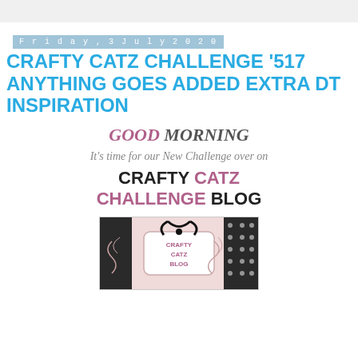Friday, 3 July 2020
CRAFTY CATZ CHALLENGE '517 ANYTHING GOES ADDED EXTRA DT INSPIRATION
GOOD MORNING
It's time for our New Challenge over on
CRAFTY CATZ CHALLENGE BLOG
[Figure (logo): Crafty Catz Blog logo image — decorative pink and black design with ribbon bow and ornamental frame, text reads CRAFTY CATZ BLOG]